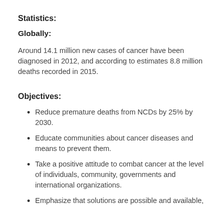Statistics:
Globally:
Around 14.1 million new cases of cancer have been diagnosed in 2012, and according to estimates 8.8 million deaths recorded in 2015.
Objectives:
Reduce premature deaths from NCDs by 25% by 2030.
Educate communities about cancer diseases and means to prevent them.
Take a positive attitude to combat cancer at the level of individuals, community, governments and international organizations.
Emphasize that solutions are possible and available,